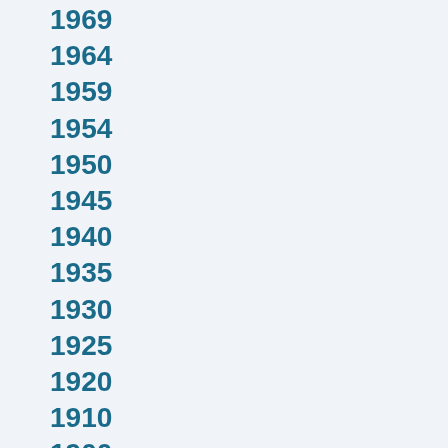1969
1964
1959
1954
1950
1945
1940
1935
1930
1925
1920
1910
1900
1890
1880